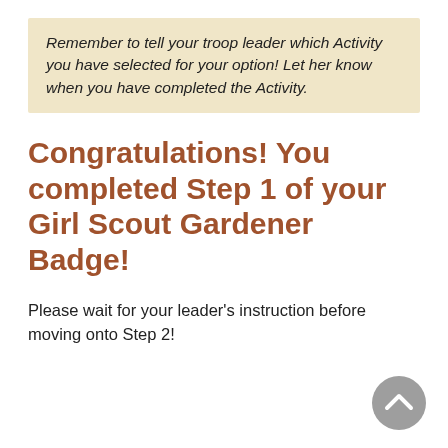Remember to tell your troop leader which Activity you have selected for your option! Let her know when you have completed the Activity.
Congratulations! You completed Step 1 of your Girl Scout Gardener Badge!
Please wait for your leader's instruction before moving onto Step 2!